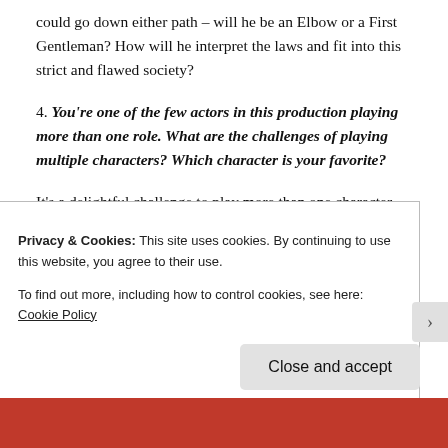could go down either path – will he be an Elbow or a First Gentleman? How will he interpret the laws and fit into this strict and flawed society?
4. You're one of the few actors in this production playing more than one role. What are the challenges of playing multiple characters? Which character is your favorite?
It's a delightful challenge to play more than one character, mostly because they are so
Privacy & Cookies: This site uses cookies. By continuing to use this website, you agree to their use.
To find out more, including how to control cookies, see here: Cookie Policy
Close and accept